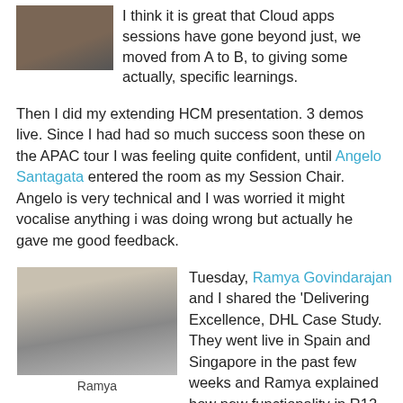[Figure (photo): Small photo of a person, partially visible at top]
I think it is great that Cloud apps sessions have gone beyond just, we moved from A to B, to giving some actually, specific learnings.
Then I did my extending HCM presentation. 3 demos live. Since I had had so much success soon these on the APAC tour I was feeling quite confident, until Angelo Santagata entered the room as my Session Chair. Angelo is very technical and I was worried it might vocalise anything i was doing wrong but actually he gave me good feedback.
[Figure (photo): Photo of Ramya presenting in front of a projection screen showing a Project Plan slide, in a conference room]
Ramya
Tuesday, Ramya Govindarajan and I shared the 'Delivering Excellence, DHL Case Study. They went live in Spain and Singapore in the past few weeks and Ramya explained how new functionality in R12, allowed them to simplify their users